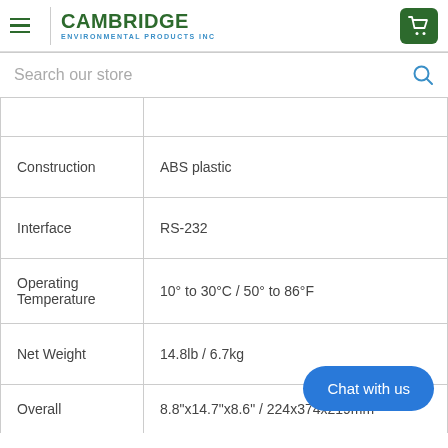Cambridge Environmental Products Inc
Search our store
| Property | Value |
| --- | --- |
| Construction | ABS plastic |
| Interface | RS-232 |
| Operating Temperature | 10° to 30°C / 50° to 86°F |
| Net Weight | 14.8lb / 6.7kg |
| Overall | 8.8"x14.7"x8.6" / 224x374x219mm |